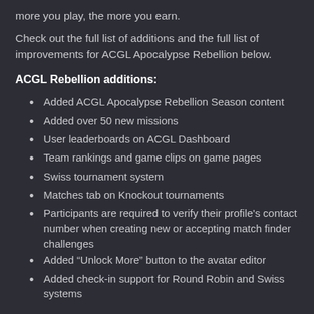more you play, the more you earn.
Check out the full list of additions and the full list of improvements for ACGL Apocalypse Rebellion below.
ACGL Rebellion additions:
Added ACGL Apocalypse Rebellion Season content
Added over 50 new missions
User leaderboards on ACGL Dashboard
Team rankings and game clips on game pages
Swiss tournament system
Matches tab on Knockout tournaments
Participants are required to verify their profile's contact number when creating new or accepting match finder challenges
Added “Unlock More” button to the avatar editor
Added check-in support for Round Robin and Swiss systems